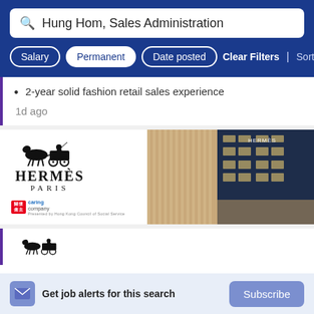Hung Hom, Sales Administration
Salary | Permanent | Date posted | Clear Filters | Sort By Rel
2-year solid fashion retail sales experience
1d ago
[Figure (logo): Hermès Paris logo with horse and carriage illustration, caring company badge]
[Figure (photo): Hermès store building exterior at night with golden striped facade]
[Figure (logo): Hermès horse and carriage logo (partial, second listing)]
Get job alerts for this search
Subscribe